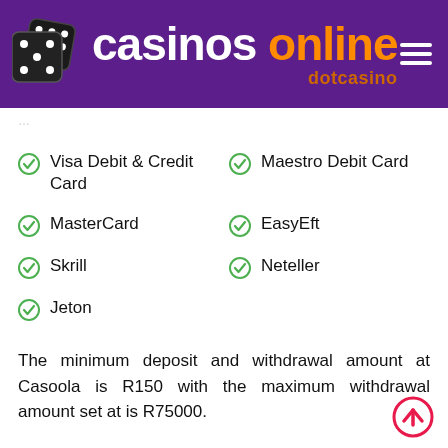[Figure (logo): Casinos Online dotcasino logo with dice image on purple background, hamburger menu icon top right]
Visa Debit & Credit Card
Maestro Debit Card
MasterCard
EasyEft
Skrill
Neteller
Jeton
The minimum deposit and withdrawal amount at Casoola is R150 with the maximum withdrawal amount set at is R75000.